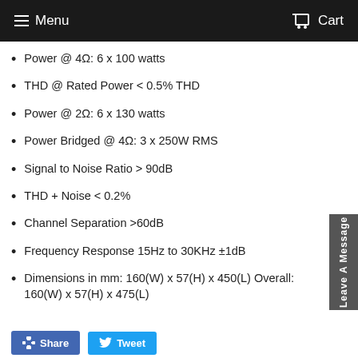Menu  Cart
Power @ 4Ω: 6 x 100 watts
THD @ Rated Power  < 0.5% THD
Power @ 2Ω: 6 x 130 watts
Power Bridged @ 4Ω: 3 x 250W RMS
Signal to Noise Ratio > 90dB
THD + Noise < 0.2%
Channel Separation  >60dB
Frequency Response 15Hz to 30KHz ±1dB
Dimensions in mm: 160(W) x 57(H) x 450(L) Overall: 160(W) x 57(H) x 475(L)